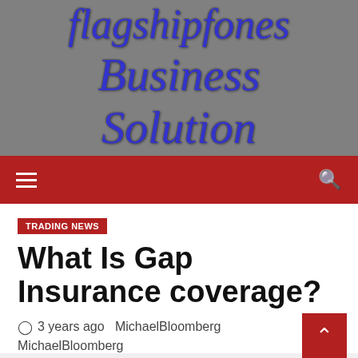[Figure (logo): Flagshipfones Business Solution website logo on grey background with blue italic serif text]
Navigation bar with hamburger menu icon and search icon on red background
TRADING NEWS
What Is Gap Insurance coverage?
3 years ago  MichaelBloomberg
MichaelBloomberg